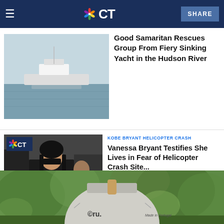NBC CT — SHARE
[Figure (photo): Yacht on the Hudson River, gray water, white boat]
Good Samaritan Rescues Group From Fiery Sinking Yacht in the Hudson River
[Figure (photo): Vanessa Bryant walking outside courthouse wearing sunglasses and black outfit, another woman behind her wearing mask]
KOBE BRYANT HELICOPTER CRASH
Vanessa Bryant Testifies She Lives in Fear of Helicopter Crash Site...
[Figure (photo): Cru pizza oven, white/grey dome shape with wooden handle, Made in Portugal label, green outdoor background]